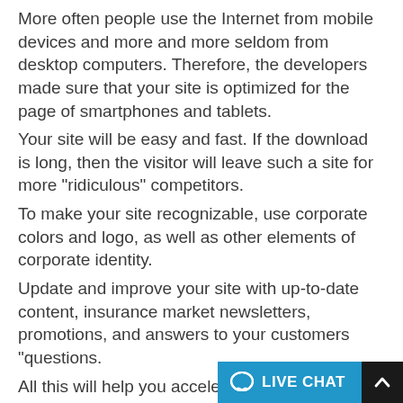More often people use the Internet from mobile devices and more and more seldom from desktop computers. Therefore, the developers made sure that your site is optimized for the page of smartphones and tablets.
Your site will be easy and fast. If the download is long, then the visitor will leave such a site for more "ridiculous" competitors.
To make your site recognizable, use corporate colors and logo, as well as other elements of corporate identity.
Update and improve your site with up-to-date content, insurance market newsletters, promotions, and answers to your customers "questions.
All this will help you accelerate the organic promotion of the site and attract even more visitors. Built-in social network buttons allow you to communicate with customers on different sites - this is an important advantage for modern business.
Insurance is a very necessary and significant... that can become unprofitable if you d...